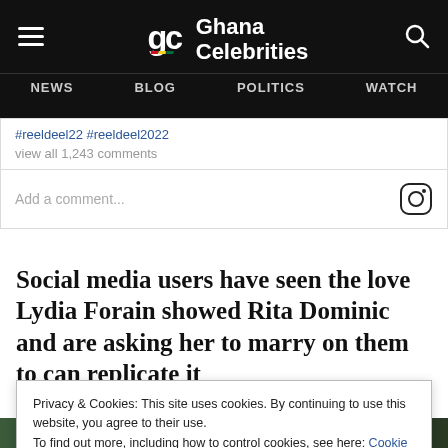Ghana Celebrities — NEWS BLOG POLITICS WATCH
#reeldeel22 #reeldeel2022
view all 1,243 comments
Add a comment...
Social media users have seen the love Lydia Forain showed Rita Dominic and are asking her to marry on them to can replicate it
Privacy & Cookies: This site uses cookies. By continuing to use this website, you agree to their use. To find out more, including how to control cookies, see here: Cookie Policy
Close and Accept
[Figure (photo): Partially visible photos at the bottom of the page]